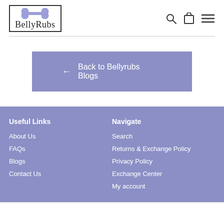[Figure (logo): BellyRubs logo with bone icon above text inside a rectangular border]
← Back to Bellyrubs Blogs
Useful Links
About Us
FAQs
Blogs
Contact Us
Navigate
Search
Returns & Exchange Policy
Privacy Policy
Exchange Center
My account